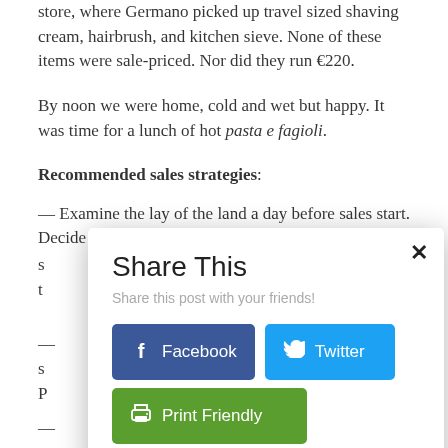store, where Germano picked up travel sized shaving cream, hairbrush, and kitchen sieve. None of these items were sale-priced. Nor did they run €220.
By noon we were home, cold and wet but happy. It was time for a lunch of hot pasta e fagioli.
Recommended sales strategies:
— Examine the lay of the land a day before sales start. Decide what you want and at which stores before the s[ales begin and] t[hen go straight there].
— [second list item, partially obscured] s[...] P[...]
— [third list item, partially obscured] y[...] u[...]
[Figure (screenshot): A 'Share This' modal dialog overlay with title 'Share This', subtitle 'Share this post with your friends!', a close (×) button, a Facebook share button (dark blue), a Twitter share button (light blue), and a Print Friendly button (green).]